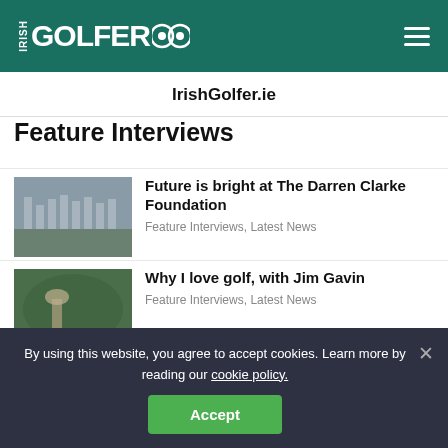IRISH GOLFER
IrishGolfer.ie
Feature Interviews
Future is bright at The Darren Clarke Foundation — Feature Interviews, Latest News
Why I love golf, with Jim Gavin — Feature Interviews, Latest News
New Sun Devil Coulter primed to shine at ASU — Feature Interviews, Latest News
By using this website, you agree to accept cookies. Learn more by reading our cookie policy. [Accept]